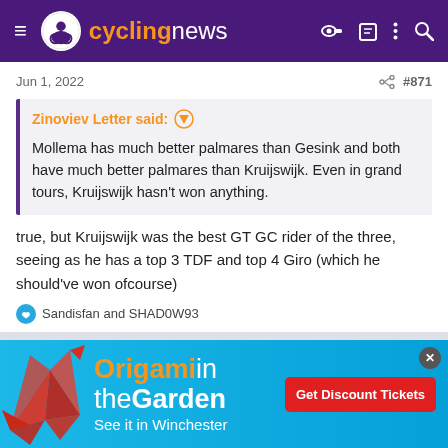cyclingnews
Jun 1, 2022   #871
Zinoviev Letter said: ↑

Mollema has much better palmares than Gesink and both have much better palmares than Kruijswijk. Even in grand tours, Kruijswijk hasn't won anything.
true, but Kruijswijk was the best GT GC rider of the three, seeing as he has a top 3 TDF and top 4 Giro (which he should've won ofcourse)
Sandisfan and SHAD0W93
[Figure (infographic): Origami in the Garden advertisement banner with red origami bird, cyan/blue background, text 'Origami in the Garden - See it in Winchester' and red 'Get Discount Tickets' button]